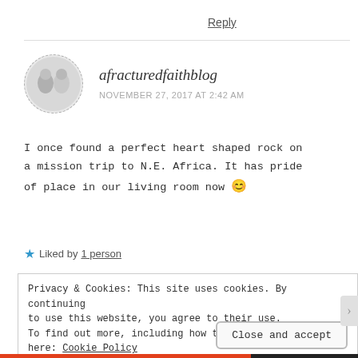Reply
afracturedfaithblog
NOVEMBER 27, 2017 AT 2:42 AM
I once found a perfect heart shaped rock on a mission trip to N.E. Africa. It has pride of place in our living room now 😊
★ Liked by 1 person
Privacy & Cookies: This site uses cookies. By continuing to use this website, you agree to their use.
To find out more, including how to control cookies, see here: Cookie Policy
Close and accept